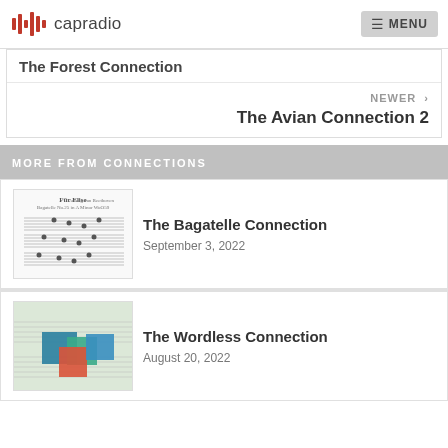capradio MENU
The Forest Connection
NEWER > The Avian Connection 2
MORE FROM CONNECTIONS
[Figure (photo): Sheet music thumbnail for Fur Elise]
The Bagatelle Connection
September 3, 2022
[Figure (photo): Colorful geometric blocks overlay on sheet music]
The Wordless Connection
August 20, 2022